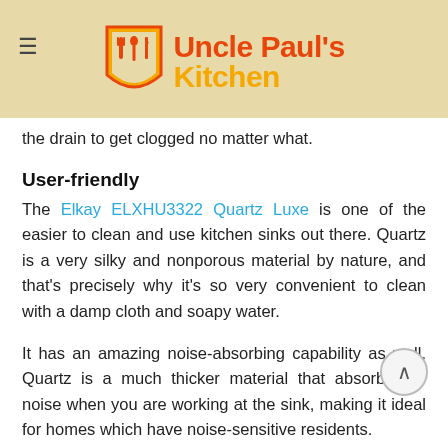Uncle Paul's Kitchen
the drain to get clogged no matter what.
User-friendly
The Elkay ELXHU3322 Quartz Luxe is one of the easier to clean and use kitchen sinks out there. Quartz is a very silky and nonporous material by nature, and that's precisely why it's so very convenient to clean with a damp cloth and soapy water.
It has an amazing noise-absorbing capability as well. Quartz is a much thicker material that absorbs the noise when you are working at the sink, making it ideal for homes which have noise-sensitive residents.
The quartz surface is also stain and smudge resistant. Food and even beverages will not stick or stain the